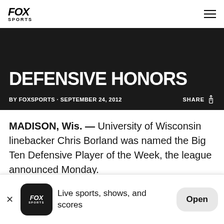FOX SPORTS
DEFENSIVE HONORS
BY FOXSPORTS · SEPTEMBER 24, 2012
MADISON, Wis. — University of Wisconsin linebacker Chris Borland was named the Big Ten Defensive Player of the Week, the league announced Monday.
Borland recorded a team-high 12 tackles, tying a
Live sports, shows, and scores